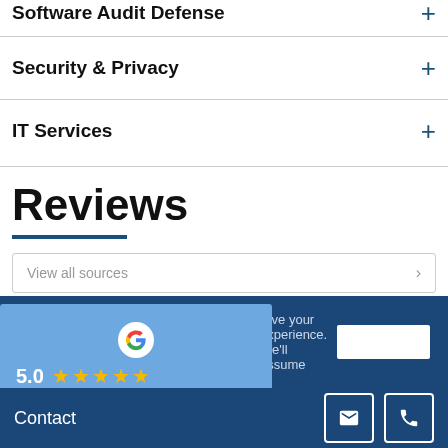Software Audit Defense
Security & Privacy
IT Services
Reviews
View all sources
[Figure (logo): Google logo with star rating card overlay]
rove your experience. We'll assume
Contact